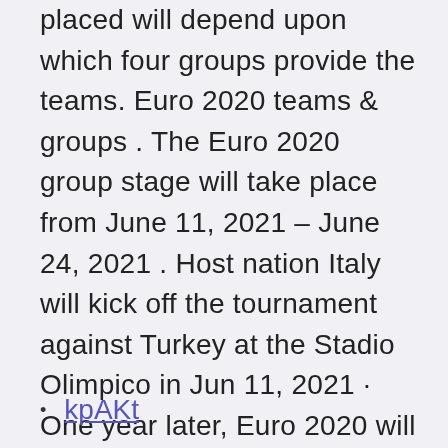placed will depend upon which four groups provide the teams. Euro 2020 teams & groups . The Euro 2020 group stage will take place from June 11, 2021 – June 24, 2021 . Host nation Italy will kick off the tournament against Turkey at the Stadio Olimpico in Jun 11, 2021 · One year later, Euro 2020 will finally get underway after a delay due to the COVID-19 pandemic.
kpAKt